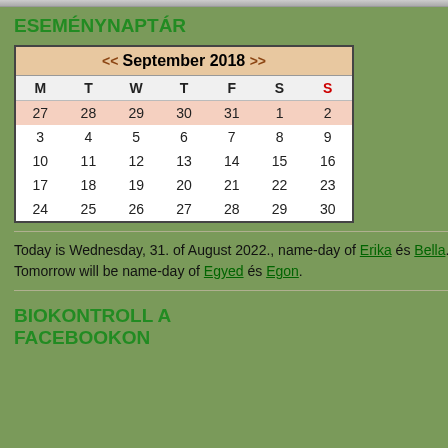ESEMÉNYNAPTÁR
| M | T | W | T | F | S | S |
| --- | --- | --- | --- | --- | --- | --- |
| 27 | 28 | 29 | 30 | 31 | 1 | 2 |
| 3 | 4 | 5 | 6 | 7 | 8 | 9 |
| 10 | 11 | 12 | 13 | 14 | 15 | 16 |
| 17 | 18 | 19 | 20 | 21 | 22 | 23 |
| 24 | 25 | 26 | 27 | 28 | 29 | 30 |
Today is Wednesday, 31. of August 2022., name-day of Erika és Bella. Tomorrow will be name-day of Egyed és Egon.
BIOKONTROLL A FACEBOOKON